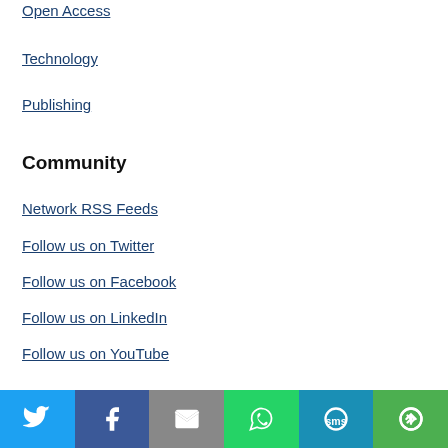Open Access
Technology
Publishing
Community
Network RSS Feeds
Follow us on Twitter
Follow us on Facebook
Follow us on LinkedIn
Follow us on YouTube
By continuing to use this website, you agree to our Terms and Conditions, Community Guidelines, Privacy statement and Cookie policy.
[Figure (other): Social sharing bar with buttons for Twitter, Facebook, Email, WhatsApp, SMS, and More]